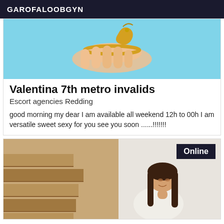GAROFALOOBGYN
[Figure (photo): Close-up image of a hand wearing a gold bracelet/anklet, on a light blue background]
Valentina 7th metro invalids
Escort agencies Redding
good morning my dear I am available all weekend 12h to 00h I am versatile sweet sexy for you see you soon ......!!!!!!!
[Figure (photo): Young woman with long dark hair, looking back over her shoulder, near wooden stairs. Online badge visible in top right corner.]